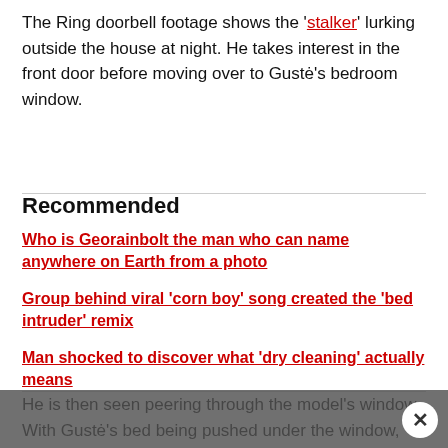The Ring doorbell footage shows the 'stalker' lurking outside the house at night. He takes interest in the front door before moving over to Gustė's bedroom window.
Recommended
Who is Georainbolt the man who can name anywhere on Earth from a photo
Group behind viral 'corn boy' song created the 'bed intruder' remix
Man shocked to discover what 'dry cleaning' actually means
He is then seen peering through the model's window. With Gustė's bed being pushed under the window, the unidentified man would have been just inches away from her face. She has since learned he would do this every Sunday.